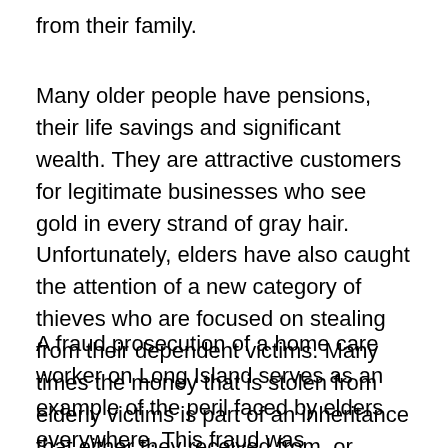from their family.
Many older people have pensions, their life savings and significant wealth. They are attractive customers for legitimate businesses who see gold in every strand of gray hair. Unfortunately, elders have also caught the attention of a new category of thieves who are focused on stealing from their dependent victims. Many times the money that is stolen from elderly victims is part of an inheritance that either they received from, or intend to leave to, relatives and friends.
A fraud prosecution of a home care worker on Long Island serves as an example of the peril faced by elders everywhere. This fraud was uncovered by the relatives of the patient after the first day that the